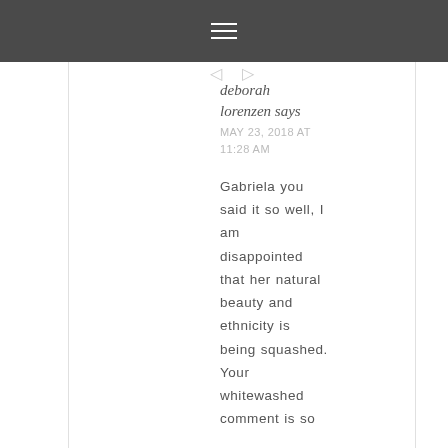≡
deborah lorenzen says
MAY 23, 2018 AT 11:28 AM
Gabriela you said it so well, I am disappointed that her natural beauty and ethnicity is being squashed. Your whitewashed comment is so